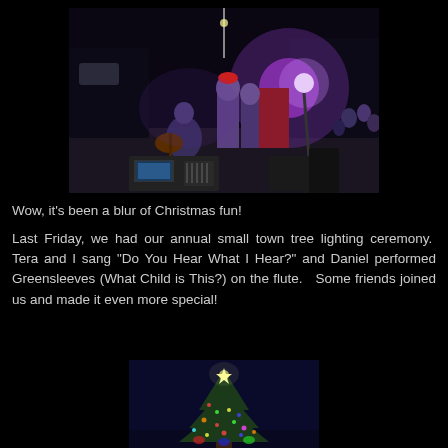[Figure (photo): Outdoor nighttime concert/performance scene. Musicians on a stage-like area with purple/pink stage lighting. A person crouches with a guitar, others stand. Audio mixing equipment and a laptop visible in the foreground. Trees and parked cars visible in background. Crowd gathered at right side.]
Wow, it's been a blur of Christmas fun!
Last Friday, we had our annual small town tree lighting ceremony.  Tera and I sang "Do You Hear What I Hear?" and Daniel performed Greensleeves (What Child is This?) on the flute.   Some friends joined us and made it even more special!
[Figure (photo): Dark night sky with a lit Christmas tree top visible, showing a star topper and illuminated branches with ornaments at the bottom of the frame.]